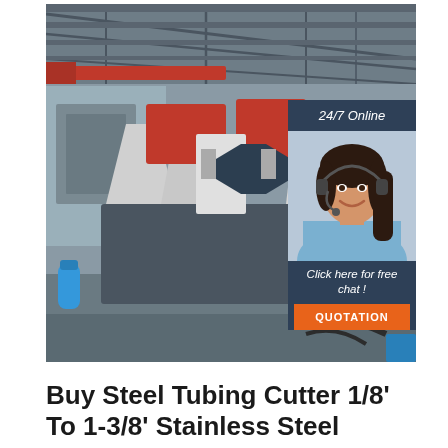[Figure (photo): Industrial steel tubing cutter machine (red and grey) on a factory floor with steel roof structure visible. A chat widget overlay on the right shows a customer service representative with headset, '24/7 Online' text, 'Click here for free chat!' text, and an orange 'QUOTATION' button.]
Buy Steel Tubing Cutter 1/8' To 1-3/8' Stainless Steel